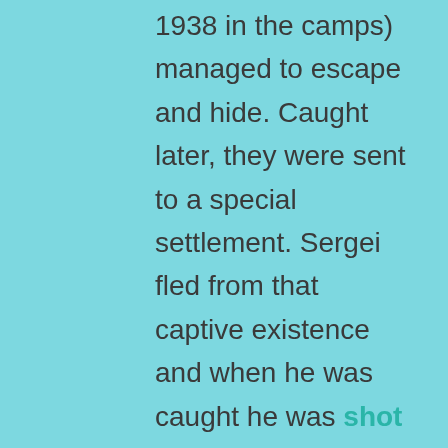1938 in the camps) managed to escape and hide. Caught later, they were sent to a special settlement. Sergei fled from that captive existence and when he was caught he was shot in Kansk in 1937. Matryona was sent to a corrective-labour camp for 8 years; there she died of dysentery in 1938.